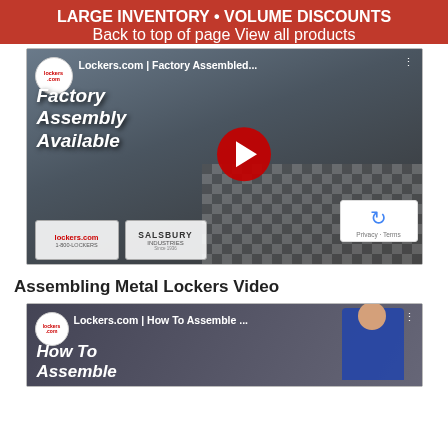LARGE INVENTORY • VOLUME DISCOUNTS
Back to top of page
View all products
[Figure (screenshot): YouTube video thumbnail for Lockers.com Factory Assembled video, showing factory assembly floor with text 'Factory Assembly Available', YouTube play button, reCAPTCHA widget, and logos for lockers.com and Salsbury Industries]
Assembling Metal Lockers Video
[Figure (screenshot): YouTube video thumbnail for Lockers.com How To Assemble video, showing a person in blue shirt with text 'How To Assemble']